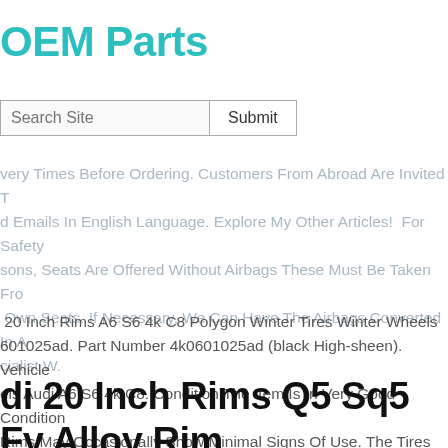OEM Parts
[Figure (screenshot): Search bar with text input labeled 'Search Site' and a 'Submit' button]
very Times Before Ordering. Customers From Abroad Are Invited T d Emails In English Language. Explore My Other Articles! For Safety sons, Seats Are Offered Without Airbags These Must Be Taken Fro Own Seats. If Necessary, We Can Have The Airbags Converted In A cialist W.
20 Inch Rims A6 S6 4k C8 Polygon Winter Tires Winter Wheels 601025ad. Part Number 4k0601025ad (black High-sheen). Vehicle els Audi A6 S6 4k C8. Condition The Item Is In Very Good Condition Rims May Occasionally Show Minimal Signs Of Use. The Tires Are Photos.
di 20 Inch Rims Q5 Sq5 Fy Alloy Rim mmer Tires Summer Wheels